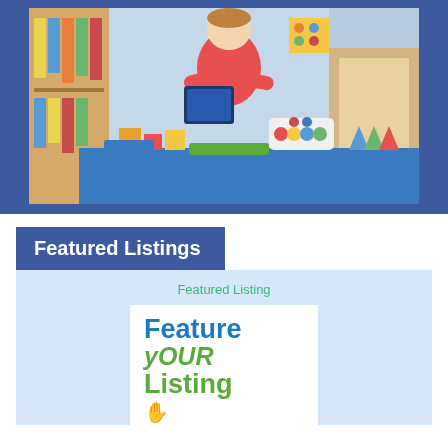[Figure (photo): Young girl in red top playing with educational toys including blocks, tablet, colorful sorting toys on a blue table in a classroom setting]
Featured Listings
Featured Listing
[Figure (infographic): White box with bold text reading 'Feature YOUR Listing' with a hand/pointer icon at the bottom, teal and green colors]